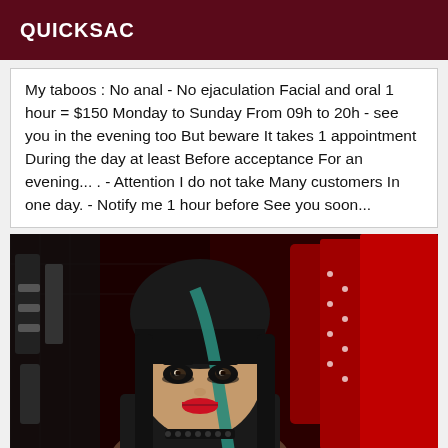QUICKSAC
My taboos : No anal - No ejaculation Facial and oral 1 hour = $150 Monday to Sunday From 09h to 20h - see you in the evening too But beware It takes 1 appointment During the day at least Before acceptance For an evening... . - Attention I do not take Many customers In one day. - Notify me 1 hour before See you soon...
[Figure (photo): A woman with dark hair with teal highlights, heavy bangs, dark eye makeup and red lipstick, wearing black clothing. Background shows red and black leather/fetish gear hanging on a grid wall.]